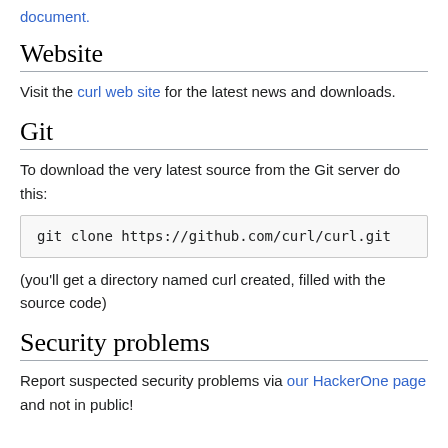document.
Website
Visit the curl web site for the latest news and downloads.
Git
To download the very latest source from the Git server do this:
git clone https://github.com/curl/curl.git
(you'll get a directory named curl created, filled with the source code)
Security problems
Report suspected security problems via our HackerOne page and not in public!